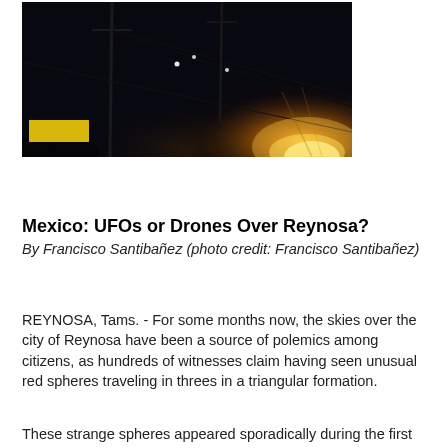[Figure (photo): Nighttime outdoor photograph showing dark sky, utility poles, bright orange/yellow light glowing from lower right area, with small bright dots visible against the dark sky and some foliage silhouetted at bottom left.]
Mexico: UFOs or Drones Over Reynosa?
By Francisco Santibañez (photo credit: Francisco Santibañez)
REYNOSA, Tams. - For some months now, the skies over the city of Reynosa have been a source of polemics among citizens, as hundreds of witnesses claim having seen unusual red spheres traveling in threes in a triangular formation.
These strange spheres appeared sporadically during the first